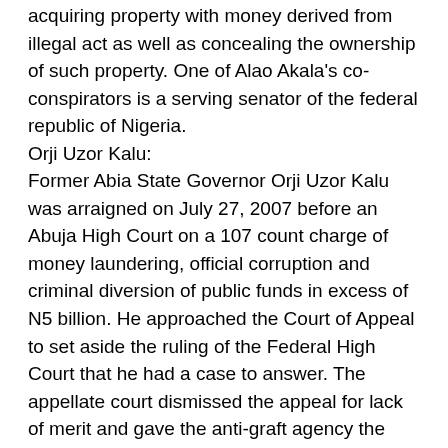acquiring property with money derived from illegal act as well as concealing the ownership of such property. One of Alao Akala's co-conspirators is a serving senator of the federal republic of Nigeria.
Orji Uzor Kalu:
Former Abia State Governor Orji Uzor Kalu was arraigned on July 27, 2007 before an Abuja High Court on a 107 count charge of money laundering, official corruption and criminal diversion of public funds in excess of N5 billion. He approached the Court of Appeal to set aside the ruling of the Federal High Court that he had a case to answer. The appellate court dismissed the appeal for lack of merit and gave the anti-graft agency the nod to prosecute him. With the charges still hanging on his neck, the former governor is touting himself as a possible presidential candidate in 2015. He still strolls around till date not